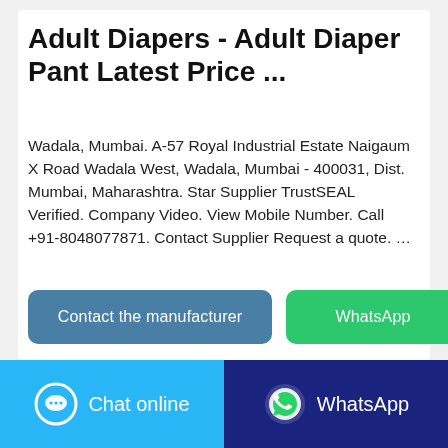Adult Diapers - Adult Diaper Pant Latest Price ...
Wadala, Mumbai. A-57 Royal Industrial Estate Naigaum X Road Wadala West, Wadala, Mumbai - 400031, Dist. Mumbai, Maharashtra. Star Supplier TrustSEAL Verified. Company Video. View Mobile Number. Call +91-8048077871. Contact Supplier Request a quote. …
[Figure (other): Two call-to-action buttons: 'Contact the manufacturer' (steel blue rounded button) and 'WhatsApp' (green rounded button)]
[Figure (other): Partial product image showing a teal/cyan colored package (adult diaper packaging) at the bottom of the card]
[Figure (other): Bottom navigation bar with two buttons: 'Chat online' (light blue with chat bubble icon) and 'WhatsApp' (dark navy blue with WhatsApp logo icon)]